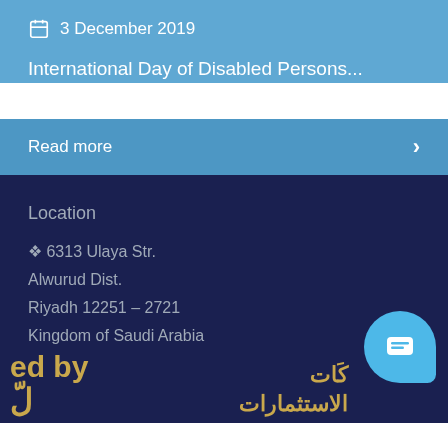3 December 2019
International Day of Disabled Persons...
Read more
Location
6313 Ulaya Str.
Alwurud Dist.
Riyadh 12251 – 2721
Kingdom of Saudi Arabia
ed by
كات